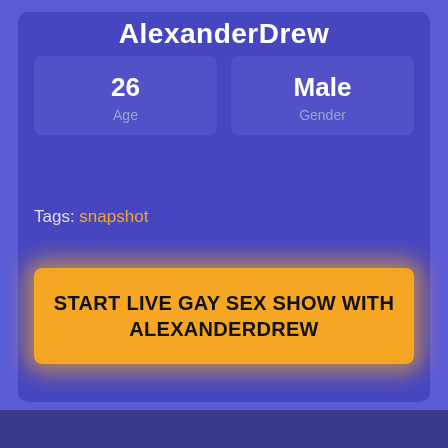AlexanderDrew
26
Age
Male
Gender
Tags: snapshot
START LIVE GAY SEX SHOW WITH ALEXANDERDREW